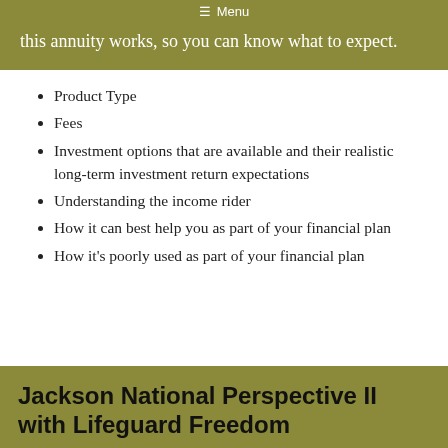this annuity works, so you can know what to expect.
Product Type
Fees
Investment options that are available and their realistic long-term investment return expectations
Understanding the income rider
How it can best help you as part of your financial plan
How it's poorly used as part of your financial plan
Jackson National Perspective II with Lifeguard Freedom